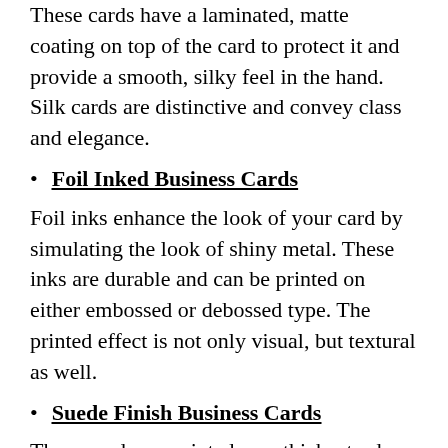These cards have a laminated, matte coating on top of the card to protect it and provide a smooth, silky feel in the hand. Silk cards are distinctive and convey class and elegance.
Foil Inked Business Cards
Foil inks enhance the look of your card by simulating the look of shiny metal. These inks are durable and can be printed on either embossed or debossed type. The printed effect is not only visual, but textural as well.
Suede Finish Business Cards
These cards are printed on a thick, sturdy card stock, with a smooth, matte finish that is soft to the touch. Suede cards are duplex printed so they can be printed in